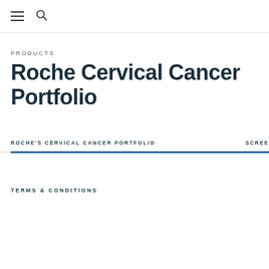≡ 🔍
PRODUCTS
Roche Cervical Cancer Portfolio
ROCHE'S CERVICAL CANCER PORTFOLIO   SCREE
TERMS & CONDITIONS